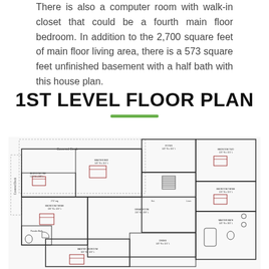There is also a computer room with walk-in closet that could be a fourth main floor bedroom. In addition to the 2,700 square feet of main floor living area, there is a 573 square feet unfinished basement with a half bath with this house plan.
1ST LEVEL FLOOR PLAN
[Figure (engineering-diagram): 1st level floor plan architectural drawing showing rooms including covered deck, bedrooms, bathrooms, kitchen, living areas, and garage with dimensions labeled throughout.]